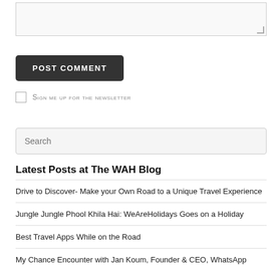[Figure (screenshot): Textarea input box with resize handle at bottom right]
POST COMMENT
Sign me up for the newsletter
Search
Latest Posts at The WAH Blog
Drive to Discover- Make your Own Road to a Unique Travel Experience
Jungle Jungle Phool Khila Hai: WeAreHolidays Goes on a Holiday
Best Travel Apps While on the Road
My Chance Encounter with Jan Koum, Founder & CEO, WhatsApp
Are you a Nineties Child?
Recent Comments